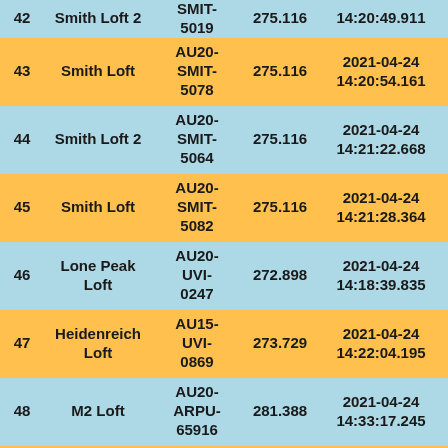| # | Name | Code | Value | DateTime | Score |
| --- | --- | --- | --- | --- | --- |
| 42 | Smith Loft 2 | AU20-SMIT-5019 | 275.116 | 2021-04-24 14:20:49.911 | 1271. |
| 43 | Smith Loft | AU20-SMIT-5078 | 275.116 | 2021-04-24 14:20:54.161 | 1271. |
| 44 | Smith Loft 2 | AU20-SMIT-5064 | 275.116 | 2021-04-24 14:21:22.668 | 1269. |
| 45 | Smith Loft | AU20-SMIT-5082 | 275.116 | 2021-04-24 14:21:28.364 | 1269. |
| 46 | Lone Peak Loft | AU20-UVI-0247 | 272.898 | 2021-04-24 14:18:39.835 | 1268. |
| 47 | Heidenreich Loft | AU15-UVI-0869 | 273.729 | 2021-04-24 14:22:04.195 | 1260. |
| 48 | M2 Loft | AU20-ARPU-65916 | 281.388 | 2021-04-24 14:33:17.245 | 1259. |